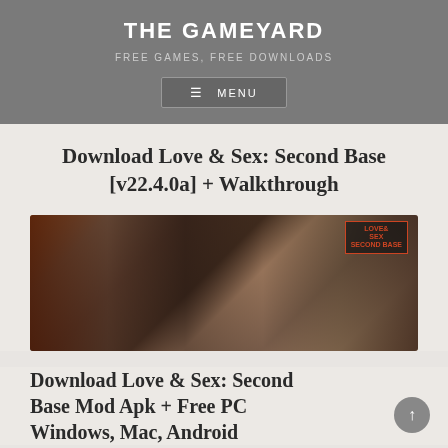THE GAMEYARD
FREE GAMES, FREE DOWNLOADS
MENU
Download Love & Sex: Second Base [v22.4.0a] + Walkthrough
[Figure (illustration): Game artwork showing multiple anime-style female characters in various outfits standing together, with 'Love & Sex Second Base' logo in the top right corner]
Download Love & Sex: Second Base Mod Apk + Free PC Windows, Mac, Android